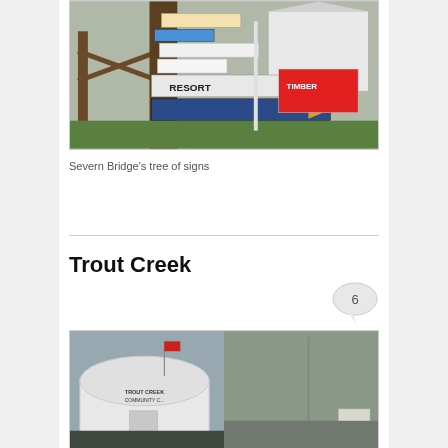[Figure (photo): A cluster of road signs attached to a large tree trunk near a wooden fence, with a resort directional sign visible and a white house in the background.]
Severn Bridge’s tree of signs
Trout Creek
[Figure (photo): Two photos side by side: left shows a white Trout Creek Community Centre building with a flag, right shows an open parking area with a utility pole and small structure in background.]